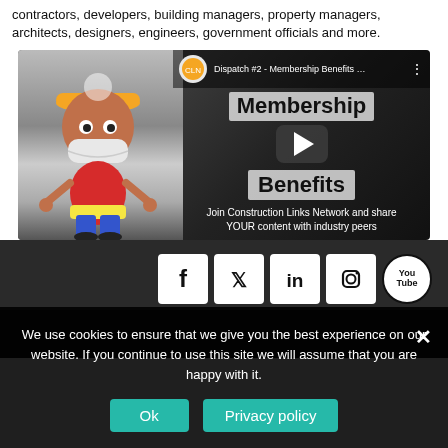contractors, developers, building managers, property managers, architects, designers, engineers, government officials and more.
[Figure (screenshot): YouTube video thumbnail for 'Dispatch #2 - Membership Benefits' by Construction Links Network, showing a cartoon mascot wearing a mask, with overlay text 'Membership Benefits' and 'Join Construction Links Network and share YOUR content with industry peers', with a play button in the center.]
[Figure (infographic): Row of social media icons: Facebook, Twitter, LinkedIn, Instagram, YouTube on a dark background.]
We use cookies to ensure that we give you the best experience on our website. If you continue to use this site we will assume that you are happy with it.
Ok  Privacy policy